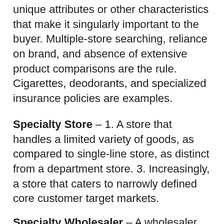unique attributes or other characteristics that make it singularly important to the buyer. Multiple-store searching, reliance on brand, and absence of extensive product comparisons are the rule. Cigarettes, deodorants, and specialized insurance policies are examples.
Specialty Store – 1. A store that handles a limited variety of goods, as compared to single-line store, as distinct from a department store. 3. Increasingly, a store that caters to narrowly defined core customer target markets.
Specialty Wholesaler – A wholesaler who stocks a narrow range of products, not often carried by the from at retail since